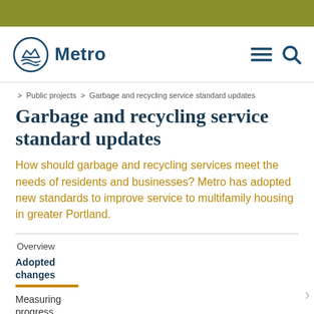[Figure (logo): Olive/khaki green top bar]
[Figure (logo): Metro logo with stylized mountain/wave icon and text 'Metro', navigation icons (hamburger menu and search)]
> Public projects > Garbage and recycling service standard updates
Garbage and recycling service standard updates
How should garbage and recycling services meet the needs of residents and businesses? Metro has adopted new standards to improve service to multifamily housing in greater Portland.
Overview
Adopted changes
Measuring progress